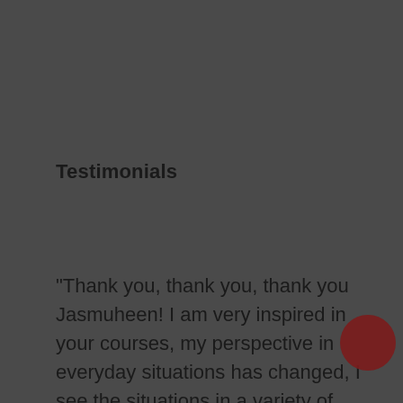Testimonials
“Thank you, thank you, thank you Jasmuheen! I am very inspired in your courses, my perspective in everyday situations has changed, I see the situations in a variety of ways. For me a great method is to feel consolation, to feel understood,